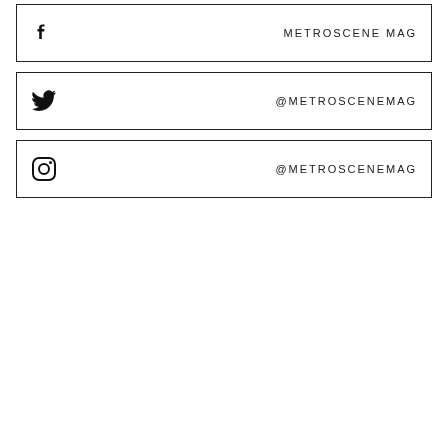Facebook: METROSCENE MAG
Twitter: @METROSCENEMAG
Instagram: @METROSCENEMAG